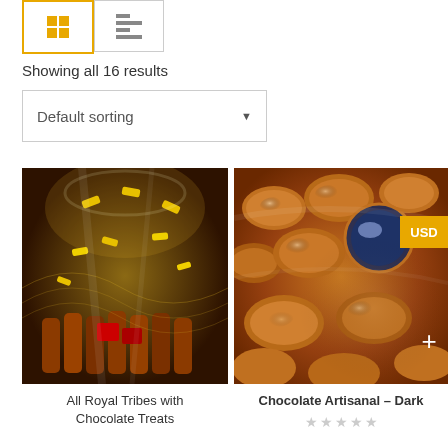[Figure (screenshot): View toggle buttons: grid view (active, orange border) and list view]
Showing all 16 results
Default sorting
[Figure (photo): Photo of a gift basket with chocolates and yellow tags wrapped in cellophane]
All Royal Tribes with Chocolate Treats
[Figure (photo): Photo of golden/brown wrapped chocolate candies with USD badge and plus button]
Chocolate Artisanal – Dark
Star rating: empty stars